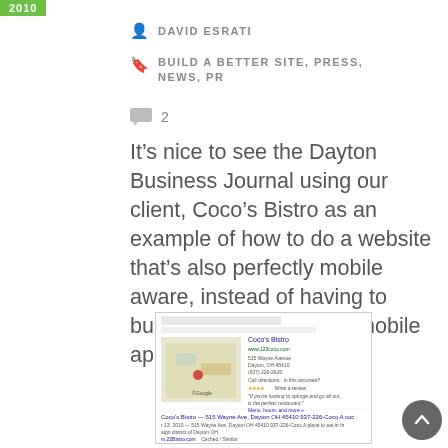2010
DAVID ESRATI
BUILD A BETTER SITE, PRESS, NEWS, PR
2
It’s nice to see the Dayton Business Journal using our client, Coco’s Bistro as an example of how to do a website that’s also perfectly mobile aware, instead of having to build a second site or a mobile application.
[Figure (screenshot): Screenshot of a Google search result for 'coco bistro' showing Coco's Bistro listing with map, address, phone number, and review snippet.]